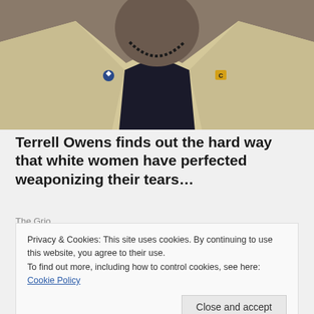[Figure (photo): Man in cream/tan blazer with dark shirt and beaded necklace, visible from chest up. Two pins/badges visible on lapels. Cropped at top.]
Terrell Owens finds out the hard way that white women have perfected weaponizing their tears…
The Grio
[Figure (photo): Shirtless child with arms outstretched jumping or leaping outdoors against a light sky background, wearing blue shorts.]
Privacy & Cookies: This site uses cookies. By continuing to use this website, you agree to their use.
To find out more, including how to control cookies, see here: Cookie Policy
Close and accept